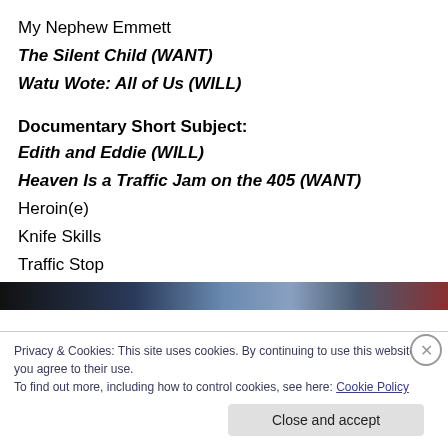My Nephew Emmett
The Silent Child (WANT)
Watu Wote: All of Us (WILL)
Documentary Short Subject:
Edith and Eddie (WILL)
Heaven Is a Traffic Jam on the 405 (WANT)
Heroin(e)
Knife Skills
Traffic Stop
[Figure (photo): Dark blue/purple gradient image strip at top of cookie banner]
Privacy & Cookies: This site uses cookies. By continuing to use this website, you agree to their use.
To find out more, including how to control cookies, see here: Cookie Policy